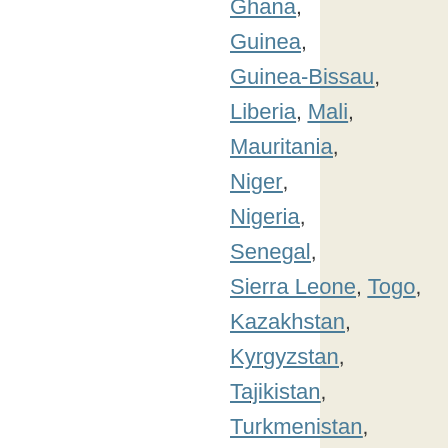Ghana,
Guinea,
Guinea-Bissau,
Liberia, Mali,
Mauritania,
Niger,
Nigeria,
Senegal,
Sierra Leone, Togo,
Kazakhstan,
Kyrgyzstan,
Tajikistan,
Turkmenistan,
Uzbekistan,
China, North Korea, South Korea,
Mongolia,
Afghanistan,
Bangladesh,